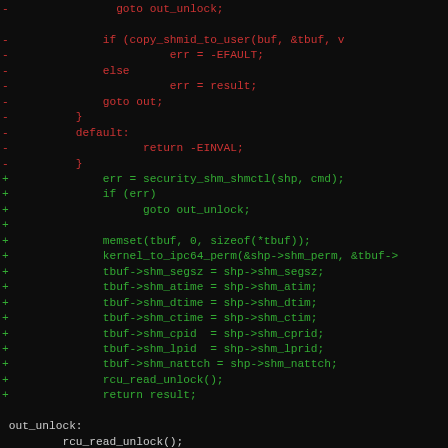[Figure (screenshot): Code diff view on dark background showing removed lines (red) and added lines (green) of C kernel code for shared memory shmctl function. Removed lines show old error handling with copy_shmid_to_user, EFAULT, result, goto out, default return EINVAL. Added lines show security_shm_shmctl call, err check with goto out_unlock, memset, kernel_to_ipc64_perm, tbuf field assignments, rcu_read_unlock, return result. Neutral lines show out_unlock label with rcu_read_unlock and -out label with return err.]